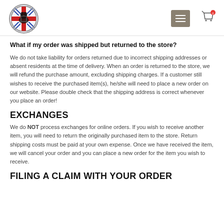Logo and navigation header
What if my order was shipped but returned to the store?
We do not take liability for orders returned due to incorrect shipping addresses or absent residents at the time of delivery. When an order is returned to the store, we will refund the purchase amount, excluding shipping charges. If a customer still wishes to receive the purchased item(s), he/she will need to place a new order on our website. Please double check that the shipping address is correct whenever you place an order!
EXCHANGES
We do NOT process exchanges for online orders. If you wish to receive another item, you will need to return the originally purchased item to the store. Return shipping costs must be paid at your own expense. Once we have received the item, we will cancel your order and you can place a new order for the item you wish to receive.
FILING A CLAIM WITH YOUR ORDER